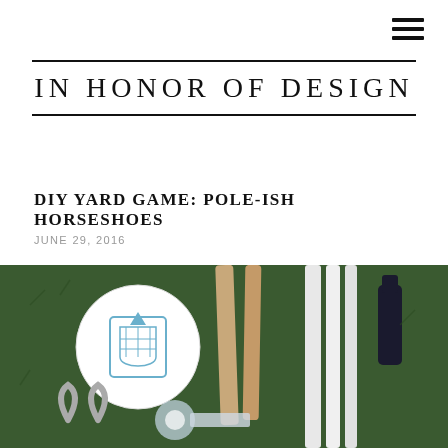IN HONOR OF DESIGN
DIY YARD GAME: POLE-ISH HORSESHOES
JUNE 29, 2016
[Figure (photo): Overhead flat-lay photo on grass showing DIY yard game components: a white disc with blue horseshoe stamp design, wooden dowel rods, white PVC pipes, a metal horseshoe, tape, and a dark bottle, all laid out on green grass. Social sharing buttons overlay the right side: a blue heart icon, a count badge showing '1', and a blue share icon.]